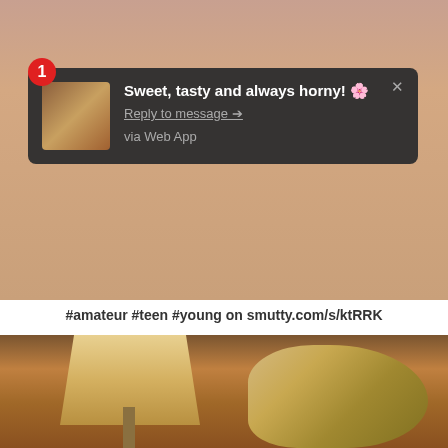[Figure (screenshot): Screenshot of a social media notification overlay on a photo. Notification shows bold text 'Sweet, tasty and always horny!' with 'Reply to message →' link and 'via Web App' text. A red badge with number 1 appears in top-left. An X close button appears top-right. Below is a skin-toned photo background.]
#amateur #teen #young on smutty.com/s/ktRRK
[Figure (photo): Photo showing a lamp with a cream/gold lampshade and a person with blonde hair in a ponytail/bun, warm amber tones.]